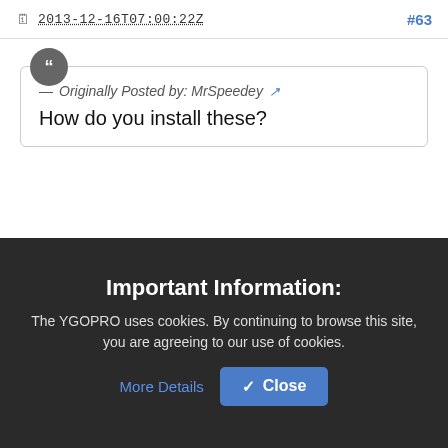2013-12-16T07:00:22Z  #63
— Originally Posted by: MrSpeedey
How do you install these?
just extract it to the pics folder in your game and again in the thumbnails folder
Important Information:
The YGOPRO uses cookies. By continuing to browse this site, you are agreeing to our use of cookies.  More Details  ✓ Close